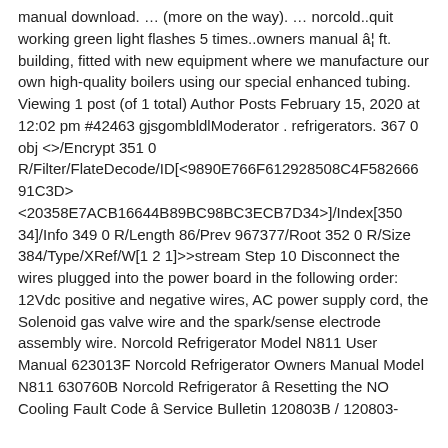manual download. … (more on the way). … norcold..quit working green light flashes 5 times..owners manual â¦ ft. building, fitted with new equipment where we manufacture our own high-quality boilers using our special enhanced tubing. Viewing 1 post (of 1 total) Author Posts February 15, 2020 at 12:02 pm #42463 gjsgombldlModerator . refrigerators. 367 0 obj <>/Encrypt 351 0 R/Filter/FlateDecode/ID[<9890E766F612928508C4F582666 91C3D> <20358E7ACB16644B89BC98BC3ECB7D34>]/Index[350 34]/Info 349 0 R/Length 86/Prev 967377/Root 352 0 R/Size 384/Type/XRef/W[1 2 1]>>stream Step 10 Disconnect the wires plugged into the power board in the following order: 12Vdc positive and negative wires, AC power supply cord, the Solenoid gas valve wire and the spark/sense electrode assembly wire. Norcold Refrigerator Model N811 User Manual 623013F Norcold Refrigerator Owners Manual Model N811 630760B Norcold Refrigerator â Resetting the NO Cooling Fault Code â Service Bulletin 120803B / 120803-